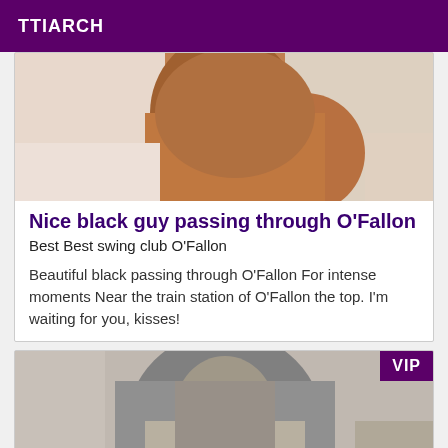TTIARCH
[Figure (photo): Close-up photo of a person's torso/arm against a white background, dark skin tone]
Nice black guy passing through O'Fallon
Best Best swing club O'Fallon
Beautiful black passing through O'Fallon For intense moments Near the train station of O'Fallon the top. I'm waiting for you, kisses!
[Figure (photo): Photo of a woman in a grey sleeveless top in a bedroom setting, with a VIP badge overlay in the top right corner]